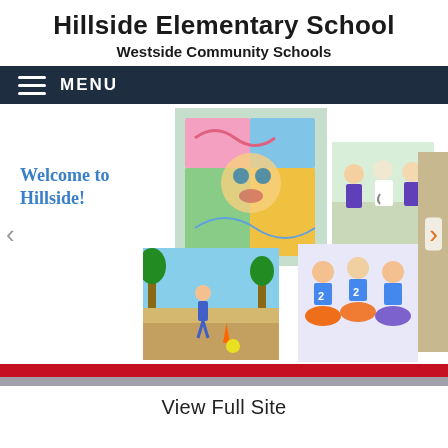Hillside Elementary School
Westside Community Schools
MENU
[Figure (photo): School website screenshot showing a photo collage with 'Welcome to Hillside!' text, a colorful mural photo, kids playing outdoors, nurses/students in scrubs, and people in tutus with spirit wear. Left and right navigation arrows visible.]
View Full Site